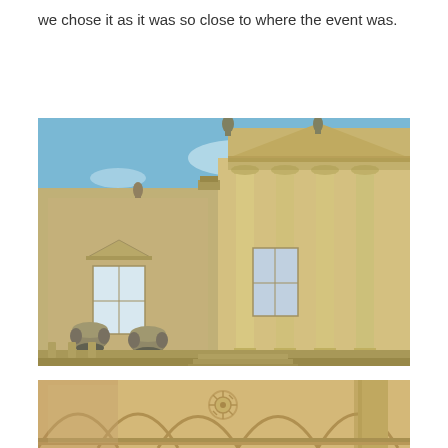we chose it as it was so close to where the event was.
[Figure (photo): Exterior photo of a grand neoclassical stone building (Blenheim Palace) taken from a low angle, showing tall Corinthian columns forming a portico, ornamental stone urns on balustrades, statues along the roofline, and a bright blue sky.]
[Figure (photo): Close-up interior/underside photo of ornate stone arched ceiling with decorative rosette medallion, columns, and architectural detail in warm golden stone tones.]